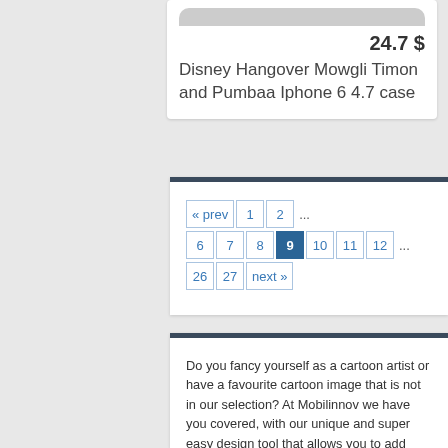24.7 $
Disney Hangover Mowgli Timon and Pumbaa Iphone 6 4.7 case
« prev  1  2  ...  6  7  8  9  10  11  12  ...  26  27  next »
Do you fancy yourself as a cartoon artist or have a favourite cartoon image that is not in our selection? At Mobilinnov we have you covered, with our unique and super easy design tool that allows you to add your own favourite images or photos for a truly personalised Iphone 6 4.7 case. When it comes to the design